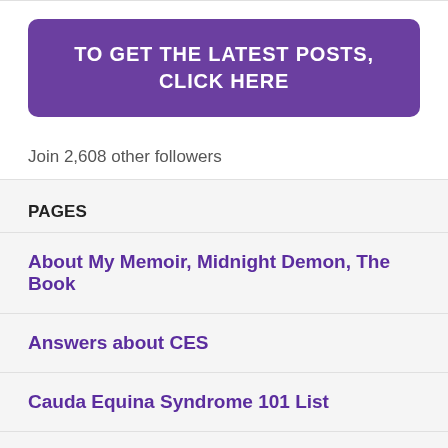[Figure (other): Purple rounded button with white uppercase text 'TO GET THE LATEST POSTS, CLICK HERE']
Join 2,608 other followers
PAGES
About My Memoir, Midnight Demon, The Book
Answers about CES
Cauda Equina Syndrome 101 List
Contact Page